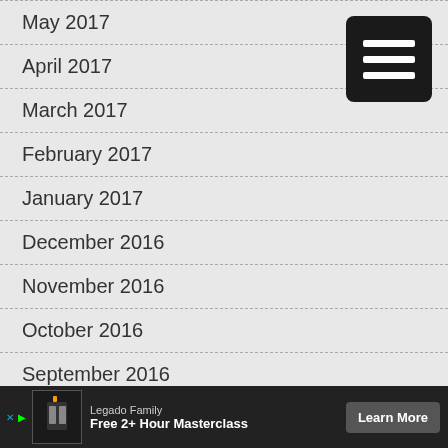May 2017
April 2017
March 2017
February 2017
January 2017
December 2016
November 2016
October 2016
September 2016
August 2016
July 2016
June 2016
May 2016
[Figure (other): Black rounded square menu/hamburger icon with three white horizontal lines]
[Figure (other): Advertisement banner: Legado Family - Free 2+ Hour Masterclass with Learn More button]